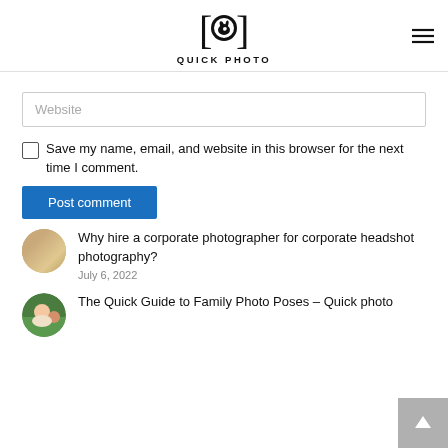QUICK PHOTO
Website
Save my name, email, and website in this browser for the next time I comment.
Post comment
[Figure (photo): Circular thumbnail of a person for blog post about corporate photographer]
Why hire a corporate photographer for corporate headshot photography?
July 6, 2022
[Figure (photo): Circular thumbnail of a woman and child for blog post about family photo poses]
The Quick Guide to Family Photo Poses – Quick photo